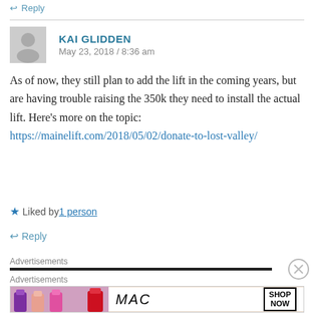↩ Reply
KAI GLIDDEN
May 23, 2018 / 8:36 am
As of now, they still plan to add the lift in the coming years, but are having trouble raising the 350k they need to install the actual lift. Here's more on the topic: https://mainelift.com/2018/05/02/donate-to-lost-valley/
★ Liked by 1 person
↩ Reply
Advertisements
Advertisements
[Figure (photo): MAC cosmetics advertisement showing lipsticks and MAC logo with SHOP NOW button]